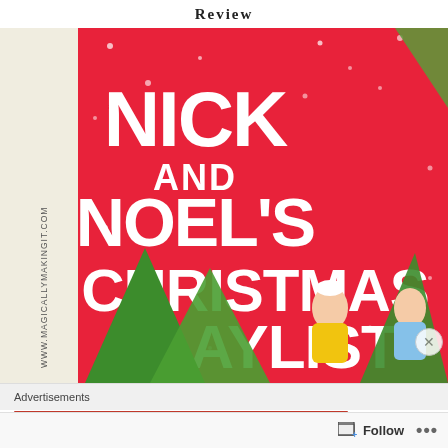Review
[Figure (photo): Book cover of 'Nick and Noel's Christmas Playlist' on a red background with white hand-lettered title text. A vertical strip on the left side reads WWW.MAGICALLYMAKINGIT.COM. The lower portion shows illustrated characters: a girl in a yellow jacket with a white pompom hat and sunglasses, Christmas trees, and a boy in a blue shirt. Small white snowflake dots are scattered on the red background.]
Advertisements
[Figure (logo): Longreads logo on a red banner with the Longreads circular L icon and the text LONGREADS in white capital letters.]